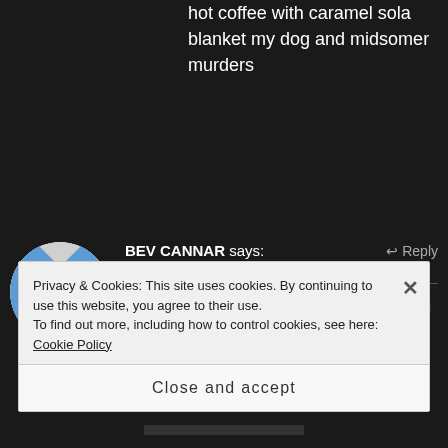hot coffee with caramel sola blanket my dog and midsomer murders
[Figure (illustration): Blue and white checkered circular avatar image for user Bev Cannar]
BEV CANNAR says: ↩ Reply
11/12/2018 at 7:29 pm
Getting out across the fields with my dog Doris,all wrapped up, then coming home to an open fire and large glass of red...heaven !
Privacy & Cookies: This site uses cookies. By continuing to use this website, you agree to their use.
To find out more, including how to control cookies, see here: Cookie Policy
Close and accept